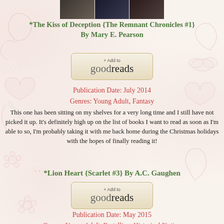[Figure (illustration): Three book covers shown at top of page]
*The Kiss of Deception {The Remnant Chronicles #1} By Mary E. Pearson
[Figure (other): + Add to goodreads button]
Publication Date: July 2014
Genres: Young Adult, Fantasy
This one has been sitting on my shelves for a very long time and I still have not picked it up. It's definitely high up on the list of books I want to read as soon as I'm able to so, I'm probably taking it with me back home during the Christmas holidays with the hopes of finally reading it!
*Lion Heart {Scarlet #3} By A.C. Gaughen
[Figure (other): + Add to goodreads button]
Publication Date: May 2015
Genres: Young Adult, Re-telling, Historical Fiction